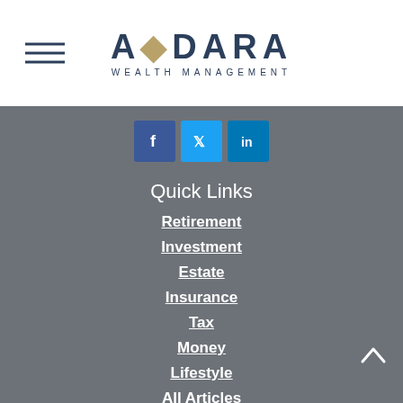[Figure (logo): Adara Wealth Management logo with hamburger menu icon on the left]
[Figure (infographic): Social media icons row: Facebook (blue), Twitter (cyan), LinkedIn (blue)]
Quick Links
Retirement
Investment
Estate
Insurance
Tax
Money
Lifestyle
All Articles
All Videos
All Calculators
All Presentations